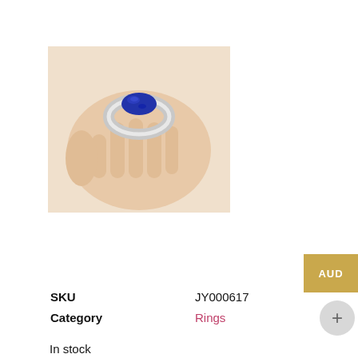[Figure (photo): A hand holding a silver ring with a large oval blue lapis lazuli stone, viewed from above.]
AUD
| SKU | JY000617 |
| Category | Rings |
In stock
Add to cart